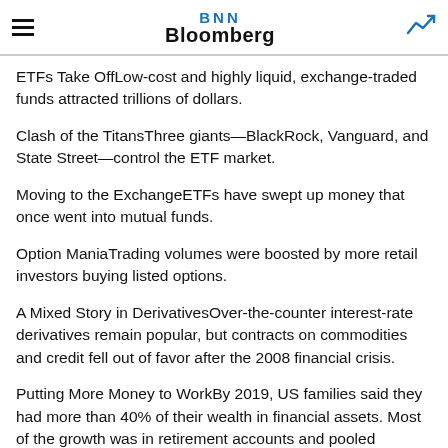BNN Bloomberg
ETFs Take OffLow-cost and highly liquid, exchange-traded funds attracted trillions of dollars.
Clash of the TitansThree giants—BlackRock, Vanguard, and State Street—control the ETF market.
Moving to the ExchangeETFs have swept up money that once went into mutual funds.
Option ManiaTrading volumes were boosted by more retail investors buying listed options.
A Mixed Story in DerivativesOver-the-counter interest-rate derivatives remain popular, but contracts on commodities and credit fell out of favor after the 2008 financial crisis.
Putting More Money to WorkBy 2019, US families said they had more than 40% of their wealth in financial assets. Most of the growth was in retirement accounts and pooled investment funds.